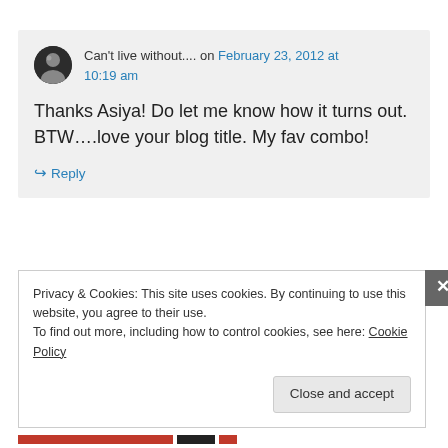Can't live without.... on February 23, 2012 at 10:19 am
Thanks Asiya! Do let me know how it turns out. BTW….love your blog title. My fav combo!
↳ Reply
Privacy & Cookies: This site uses cookies. By continuing to use this website, you agree to their use. To find out more, including how to control cookies, see here: Cookie Policy
Close and accept